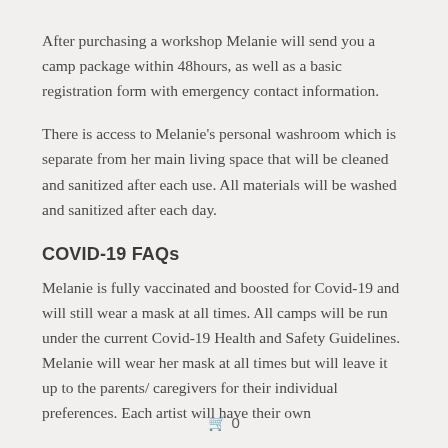After purchasing a workshop Melanie will send you a camp package within 48hours, as well as a basic registration form with emergency contact information.
There is access to Melanie’s personal washroom which is separate from her main living space that will be cleaned and sanitized after each use. All materials will be washed and sanitized after each day.
COVID-19 FAQs
Melanie is fully vaccinated and boosted for Covid-19 and will still wear a mask at all times. All camps will be run under the current Covid-19 Health and Safety Guidelines. Melanie will wear her mask at all times but will leave it up to the parents/ caregivers for their individual preferences. Each artist will have their own
🛒 0